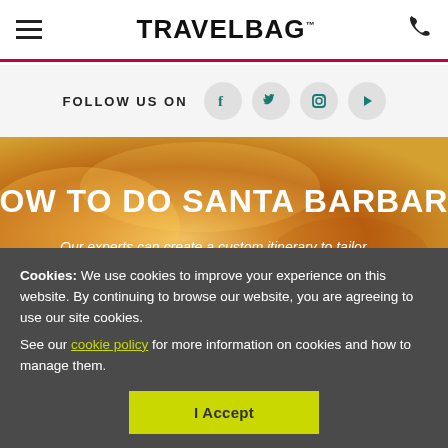TRAVELBAG™
FOLLOW US ON
HOW TO DO SANTA BARBARA
Our experts can create a custom itinerary to tailor
Cookies: We use cookies to improve your experience on this website. By continuing to browse our website, you are agreeing to use our site cookies. See our cookie policy for more information on cookies and how to manage them.
I Accept